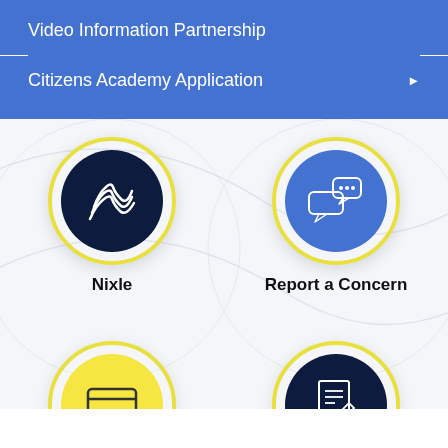Video Information Partnership
Citizens Academy Application
[Figure (infographic): Two circular icon buttons with yellow rings: left is dark navy circle with Nixle logo (wave/arch lines), right is blue circle with chat bubbles icon. Labels: Nixle, Report a Concern. Below, two more partially visible circles: left is yellow with credit card icon, right is dark navy with document/edit icon.]